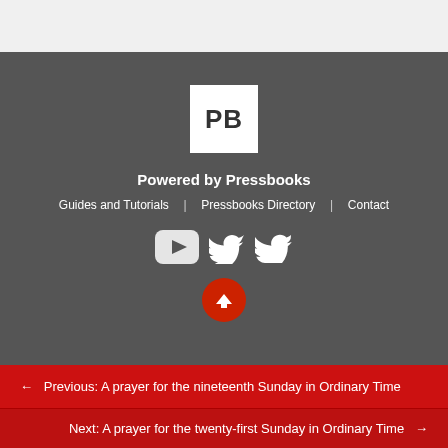[Figure (logo): Pressbooks PB logo - white square with bold PB text]
Powered by Pressbooks
Guides and Tutorials | Pressbooks Directory | Contact
[Figure (other): YouTube and Twitter social media icons in white]
[Figure (other): Back to top button - red circle with upward arrow]
← Previous: A prayer for the nineteenth Sunday in Ordinary Time
Next: A prayer for the twenty-first Sunday in Ordinary Time →